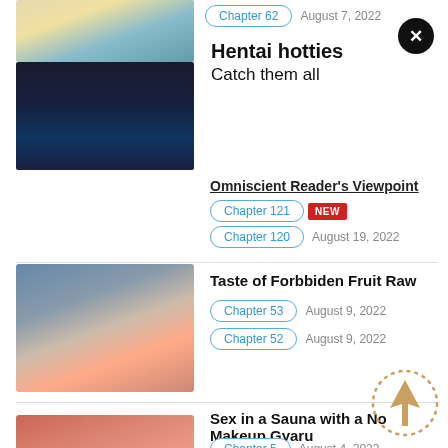[Figure (screenshot): Mobile manga reading app listing page showing manga titles with chapter links and dates]
Hentai hotties
Catch them all
Omniscient Reader's Viewpoint
Chapter 121 NEW
Chapter 120   August 19, 2022
Taste of Forbbiden Fruit Raw
Chapter 53   August 9, 2022
Chapter 52   August 9, 2022
Sex in a Sauna with a No Makeup Gyaru
Chapter 5   August 4, 2022
Chapter 4   August 4, 2022